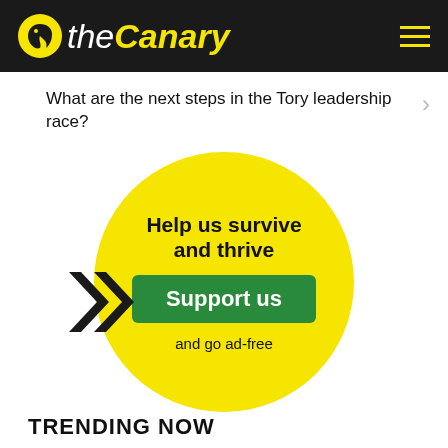the Canary
What are the next steps in the Tory leadership race?
[Figure (infographic): Yellow circle with bold black double chevron arrows on the left, heading 'Help us survive and thrive', green 'Support us' button, and text 'and go ad-free']
TRENDING NOW